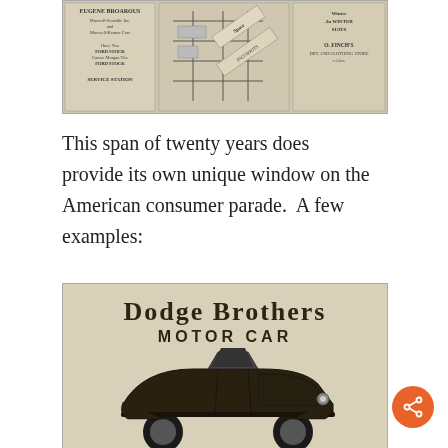[Figure (photo): Old newspaper or advertisement page showing store/business listings including 'Eugene Broadus', 'O. Finch's' store, and a street map diagram with various business names.]
This span of twenty years does provide its own unique window on the American consumer parade.  A few examples:
[Figure (photo): Old advertisement for Dodge Brothers Motor Car showing the brand name in large serif display type at top and an illustration of an early automobile (open touring car) at the bottom.]